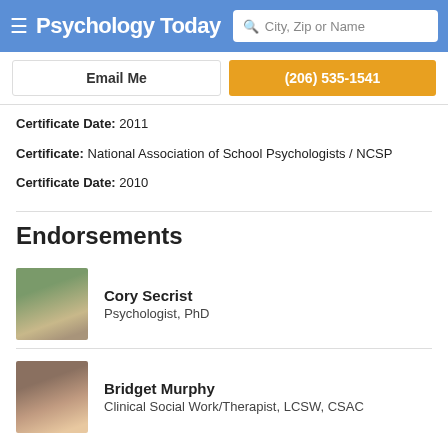Psychology Today — City, Zip or Name search
Email Me
(206) 535-1541
Certificate Date: 2011
Certificate: National Association of School Psychologists / NCSP
Certificate Date: 2010
Endorsements
Cory Secrist
Psychologist, PhD
Bridget Murphy
Clinical Social Work/Therapist, LCSW, CSAC